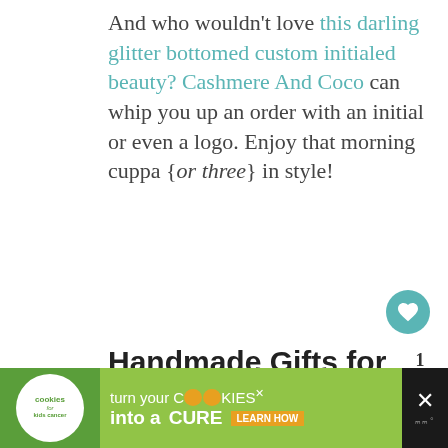And who wouldn't love this darling glitter bottomed custom initialed beauty? Cashmere And Coco can whip you up an order with an initial or even a logo. Enjoy that morning cuppa {or three} in style!
Handmade Gifts for the Living Room
[Figure (photo): Photo of couch/sofa with grey and white patterned cushions, with a 'WHAT'S NEXT' overlay showing a thumbnail and text 'No Sew Gnome Sim...']
[Figure (infographic): Advertisement banner for 'cookies for kids cancer' — turn your COOKIES into a CURE LEARN HOW]